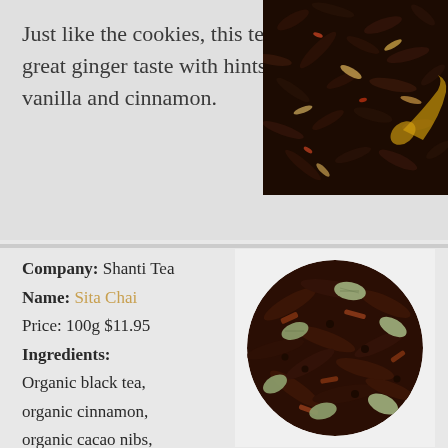Just like the cookies, this tea has great ginger taste with hints of vanilla and cinnamon.
[Figure (photo): Close-up photo of loose leaf dark tea with visible tea leaves and spices, photographed with a golden spoon]
Company: Shanti Tea
Name: Sita Chai
Price: 100g $11.95
Ingredients:
Organic black tea, organic cinnamon, organic cacao nibs, organic cardamom
[Figure (photo): Circular pile of loose chai tea blend showing dark tea leaves, cinnamon pieces, and cardamom pods]